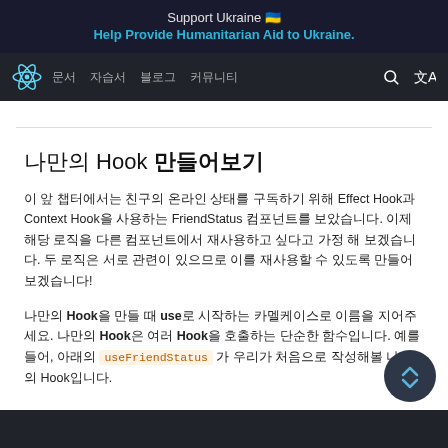Support Ukraine 🇺🇦
Help Provide Humanitarian Aid to Ukraine.
⚛ 문서 자습서 블로그 커뮤니티
나만의 Hook 만들어보기
이 앞 챕터에서는 친구의 온라인 상태를 구독하기 위해 Effect Hook과 Context Hook을 사용하는 FriendStatus 컴포넌트를 보았습니다. 이제 해당 로직을 다른 컴포넌트에서 재사용하고 싶다고 가정 해 보겠습니다. 두 로직은 서로 관련이 있으므로 이를 재사용할 수 있도록 만들어 보겠습니다!
나만의 Hook을 만들 때 use로 시작하는 카멜케이스로 이름을 지어주세요. 나만의 Hook은 여러 Hook을 호출하는 단순한 함수입니다. 예를 들어, 아래의 useFriendStatus 가 우리가 처음으로 작성해볼 나만의 Hook입니다.